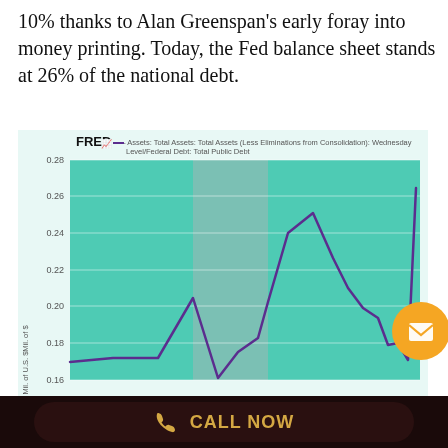10% thanks to Alan Greenspan's early foray into money printing. Today, the Fed balance sheet stands at 26% of the national debt.
[Figure (continuous-plot): FRED line chart showing Fed total assets as a ratio of federal debt over time, with a teal/green background. The line (purple) starts around 0.16-0.17, rises to ~0.21 in a first peak, dips to ~0.17, then rises sharply to ~0.25 peak, drops to ~0.22, then falls to ~0.18 before sharply rising to ~0.265 at the right edge. Y-axis labels: 0.16, 0.18, 0.20, 0.22, 0.24, 0.26, 0.28. A gray recession band is visible.]
CALL NOW